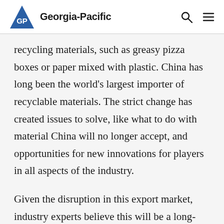Georgia-Pacific
recycling materials, such as greasy pizza boxes or paper mixed with plastic. China has long been the world’s largest importer of recyclable materials. The strict change has created issues to solve, like what to do with material China will no longer accept, and opportunities for new innovations for players in all aspects of the industry.
Given the disruption in this export market, industry experts believe this will be a long-